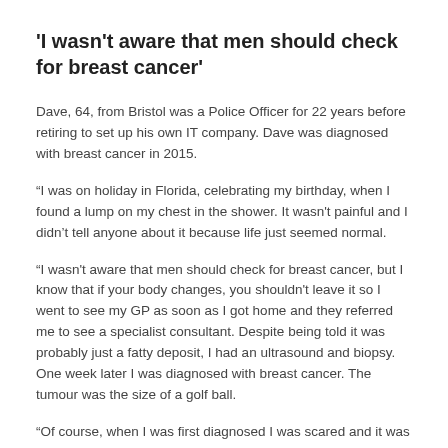'I wasn't aware that men should check for breast cancer'
Dave, 64, from Bristol was a Police Officer for 22 years before retiring to set up his own IT company. Dave was diagnosed with breast cancer in 2015.
“I was on holiday in Florida, celebrating my birthday, when I found a lump on my chest in the shower. It wasn't painful and I didn’t tell anyone about it because life just seemed normal.
“I wasn't aware that men should check for breast cancer, but I know that if your body changes, you shouldn't leave it so I went to see my GP as soon as I got home and they referred me to see a specialist consultant. Despite being told it was probably just a fatty deposit, I had an ultrasound and biopsy. One week later I was diagnosed with breast cancer. The tumour was the size of a golf ball.
“Of course, when I was first diagnosed I was scared and it was tough to tell my children. I had a mastectomy, treatment and almost seven years later I am in good health and still